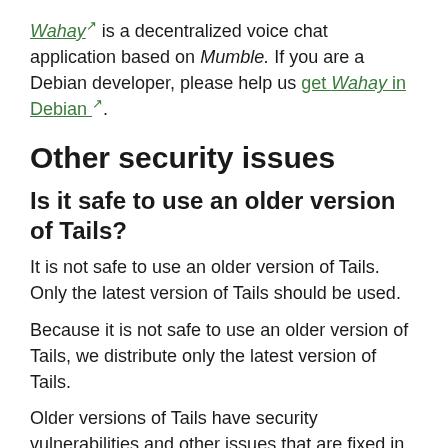Wahay is a decentralized voice chat application based on Mumble. If you are a Debian developer, please help us get Wahay in Debian.
Other security issues
Is it safe to use an older version of Tails?
It is not safe to use an older version of Tails. Only the latest version of Tails should be used.
Because it is not safe to use an older version of Tails, we distribute only the latest version of Tails.
Older versions of Tails have security vulnerabilities and other issues that are fixed in the latest version of Tails.
We understand why you might want to use an older